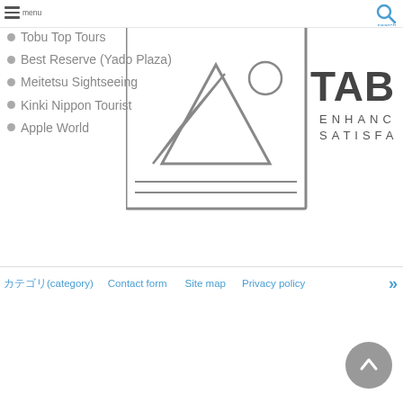show its strength
Tobu Top Tours
Best Reserve (Yado Plaza)
Meitetsu Sightseeing
Kinki Nippon Tourist
Apple World
[Figure (logo): TABISUPO logo with mountain/landscape image placeholder and tagline ENHANCE YOUR SATISFACTION]
カテゴリ(category)  Contact form  Site map  Privacy policy